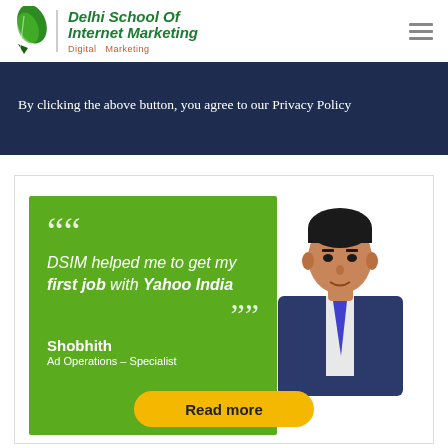[Figure (logo): Delhi School Of Internet Marketing logo with green leaf and italic text]
By clicking the above button, you agree to our Privacy Policy
[Figure (infographic): Testimonial card with green background. Quote: DSIM helped me to get my first job with Yahoo India. Person: Shobhith, Ad Operations – Specialist. Read more button in yellow.]